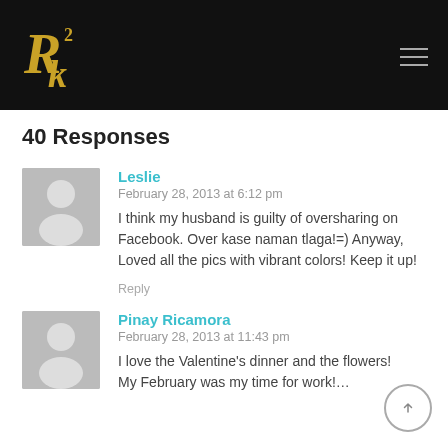R2k blog logo with hamburger menu
40 Responses
Leslie
February 28, 2013 at 6:12 pm
I think my husband is guilty of oversharing on Facebook. Over kase naman tlaga!=) Anyway, Loved all the pics with vibrant colors! Keep it up!
Reply
Pinay Ricamora
February 28, 2013 at 11:43 pm
I love the Valentine's dinner and the flowers!
My February was my time for work!…